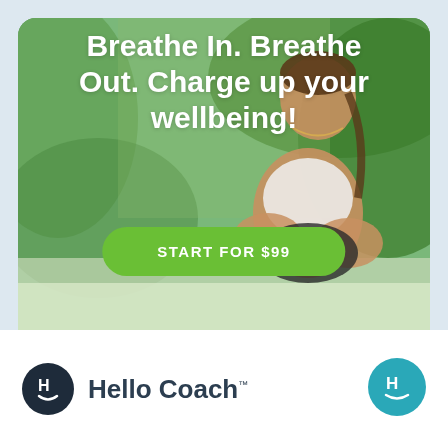[Figure (photo): Hero banner image showing a woman sitting cross-legged in a tropical/green plant setting on a bed, with text overlay and a green CTA button. Background is blurred greenery.]
Breathe In. Breathe Out. Charge up your wellbeing!
START FOR $99
[Figure (logo): Hello Coach logo: dark circular icon with stylized H and smile, next to text 'Hello Coach' with trademark symbol]
[Figure (other): Floating teal circular button with Hello Coach H-smile icon, positioned bottom right]